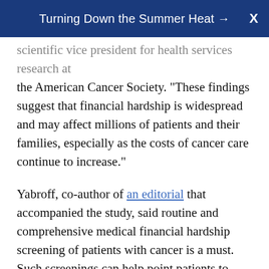Turning Down the Summer Heat →
scientific vice president for health services research at the American Cancer Society. "These findings suggest that financial hardship is widespread and may affect millions of patients and their families, especially as the costs of cancer care continue to increase."
Yabroff, co-author of an editorial that accompanied the study, said routine and comprehensive medical financial hardship screening of patients with cancer is a must. Such screenings can help point patients to support services, she added, urging policymakers to consider it a part of quality health care.
Other research has shown that patients with cancer increasingly face high out-of-pocket costs and may need to make trade-offs between paying for their cancer care and basic needs such as food, housing